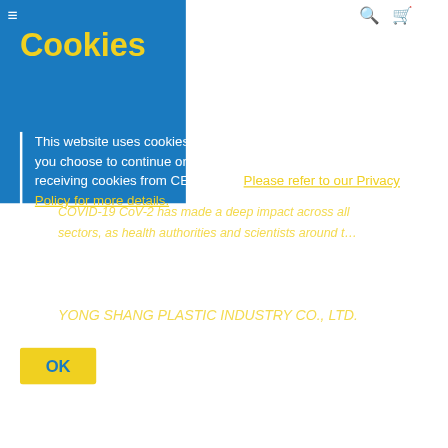Cookies
This website uses cookies in order to offer you better services. If you choose to continue on, we will assume that you consent to receiving cookies from CENS.com. Please refer to our Privacy Policy for more details.
OK
Global Buyers' Most Trusted Taiwan Supplier Platform